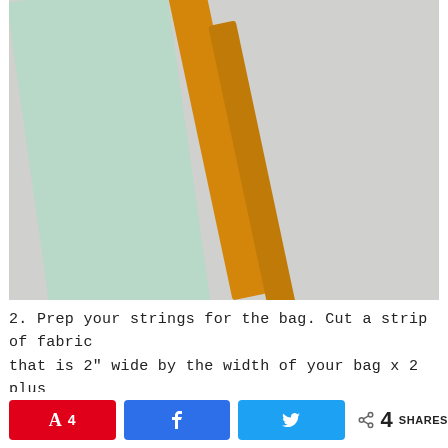[Figure (photo): Photo showing a mint/light green piece of fabric and two orange/golden fabric straps laid on a light gray background, photographed from above.]
2. Prep your strings for the bag. Cut a strip of fabric that is 2" wide by the width of your bag x 2 plus some 🙂 For example, The piece of fabric I cut is
4 SHARES (social sharing buttons: Pinterest 4, Facebook, Twitter)